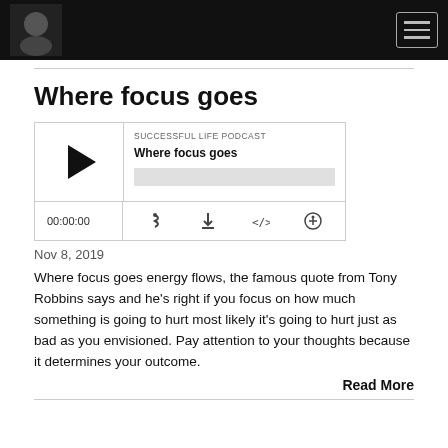Navigation bar with logo and hamburger menu
Where focus goes
[Figure (other): Podcast player widget for 'Where focus goes' episode from Successful Life Podcast, showing play button, progress bar, time 00:00:00, and icons for RSS, download, embed, and share]
Nov 8, 2019
Where focus goes energy flows, the famous quote from Tony Robbins says and he's right if you focus on how much something is going to hurt most likely it's going to hurt just as bad as you envisioned. Pay attention to your thoughts because it determines your outcome.
Read More